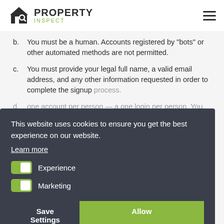PROPERTY INSPECT
b. You must be a human. Accounts registered by "bots" or other automated methods are not permitted.
c. You must provide your legal full name, a valid email address, and any other information requested in order to complete the signup process.
d. [dimmed content — one account per person. You may create separate logins for as many people as your plan allows.]
e. [dimmed content — are responsible for maintaining the security of your account and password. RadWeb cannot and will not be liable for any loss or damage from your failure to comply with this security obligation.]
This website uses cookies to ensure you get the best experience on our website.
Learn more
Experience
Marketing
Save Settings
Allow